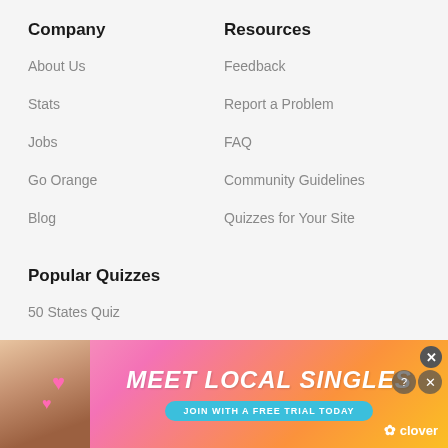Company
About Us
Stats
Jobs
Go Orange
Blog
Resources
Feedback
Report a Problem
FAQ
Community Guidelines
Quizzes for Your Site
Popular Quizzes
50 States Quiz
[Figure (infographic): Advertisement banner: Meet Local Singles - Join with a free trial today - Clover app ad with woman photo and pink/orange gradient background]